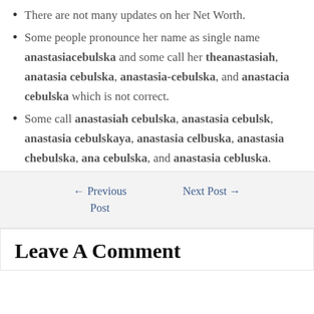There are not many updates on her Net Worth.
Some people pronounce her name as single name anastasiacebulska and some call her theanastasiah, anatasia cebulska, anastasia-cebulska, and anastacia cebulska which is not correct.
Some call anastasiah cebulska, anastasia cebulsk, anastasia cebulskaya, anastasia celbuska, anastasia chebulska, ana cebulska, and anastasia cebluska.
← Previous Post   Next Post →
Leave A Comment